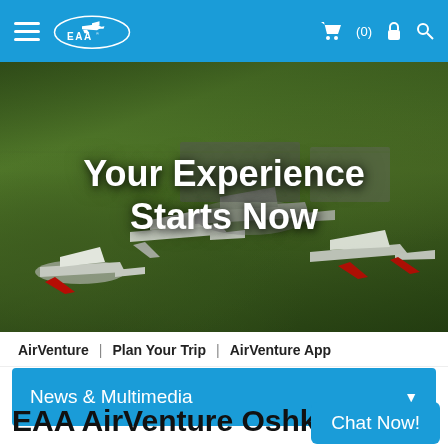EAA navigation bar with hamburger menu, EAA logo, cart (0), lock, and search icons
[Figure (photo): Aerial view of multiple small aircraft parked on green grass field with hangars in background, overlaid with large white text 'Your Experience Starts Now']
AirVenture  |  Plan Your Trip  |  AirVenture App
News & Multimedia
EAA AirVenture Oshkos